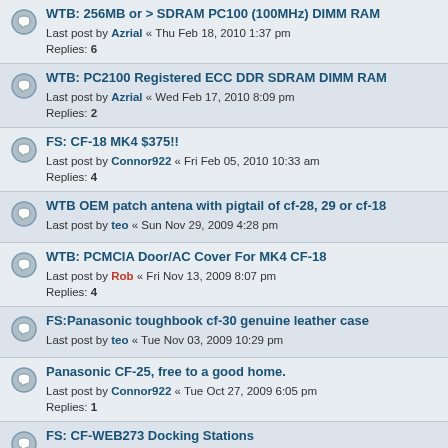WTB: 256MB or > SDRAM PC100 (100MHz) DIMM RAM
Last post by Azrial « Thu Feb 18, 2010 1:37 pm
Replies: 6
WTB: PC2100 Registered ECC DDR SDRAM DIMM RAM
Last post by Azrial « Wed Feb 17, 2010 8:09 pm
Replies: 2
FS: CF-18 MK4 $375!!
Last post by Connor922 « Fri Feb 05, 2010 10:33 am
Replies: 4
WTB OEM patch antena with pigtail of cf-28, 29 or cf-18
Last post by teo « Sun Nov 29, 2009 4:28 pm
WTB: PCMCIA Door/AC Cover For MK4 CF-18
Last post by Rob « Fri Nov 13, 2009 8:07 pm
Replies: 4
FS:Panasonic toughbook cf-30 genuine leather case
Last post by teo « Tue Nov 03, 2009 10:29 pm
Panasonic CF-25, free to a good home.
Last post by Connor922 « Tue Oct 27, 2009 6:05 pm
Replies: 1
FS: CF-WEB273 Docking Stations
Last post by Connor922 « Sat Oct 24, 2009 1:44 pm
Replies: 9
For Sale...
Last post by tomcat57 « Fri Sep 18, 2009 1:02 am
Replies: 1
Memory to trade
Last post by Rob « Thu Sep 17, 2009 10:51 pm
Replies: 3